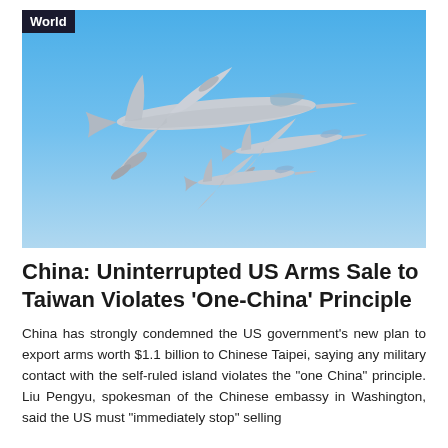[Figure (photo): Military aircraft in formation flight against a blue sky: a large bomber aircraft flanked by two fighter jets flying in close formation.]
China: Uninterrupted US Arms Sale to Taiwan Violates 'One-China' Principle
China has strongly condemned the US government's new plan to export arms worth $1.1 billion to Chinese Taipei, saying any military contact with the self-ruled island violates the "one China" principle. Liu Pengyu, spokesman of the Chinese embassy in Washington, said the US must "immediately stop" selling